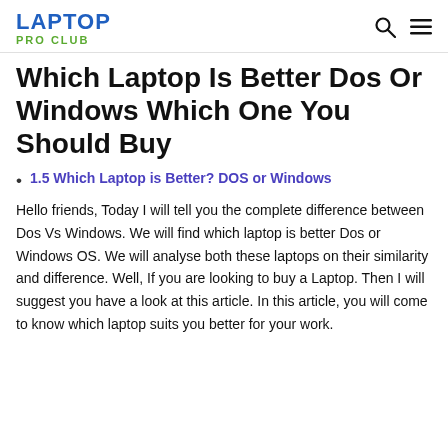LAPTOP PRO CLUB
Which Laptop Is Better Dos Or Windows Which One You Should Buy
1.5 Which Laptop is Better? DOS or Windows
Hello friends, Today I will tell you the complete difference between Dos Vs Windows. We will find which laptop is better Dos or Windows OS. We will analyse both these laptops on their similarity and difference. Well, If you are looking to buy a Laptop. Then I will suggest you have a look at this article. In this article, you will come to know which laptop suits you better for your work.